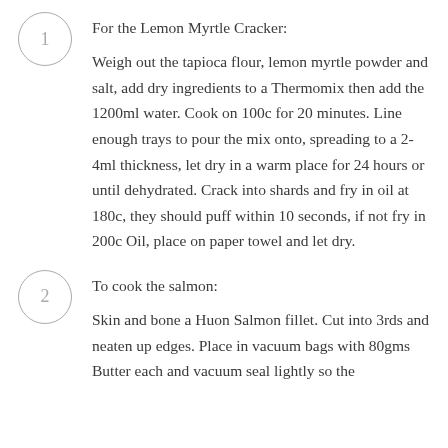For the Lemon Myrtle Cracker:
Weigh out the tapioca flour, lemon myrtle powder and salt, add dry ingredients to a Thermomix then add the 1200ml water. Cook on 100c for 20 minutes. Line enough trays to pour the mix onto, spreading to a 2-4ml thickness, let dry in a warm place for 24 hours or until dehydrated. Crack into shards and fry in oil at 180c, they should puff within 10 seconds, if not fry in 200c Oil, place on paper towel and let dry.
To cook the salmon:
Skin and bone a Huon Salmon fillet. Cut into 3rds and neaten up edges. Place in vacuum bags with 80gms Butter each and vacuum seal lightly so the